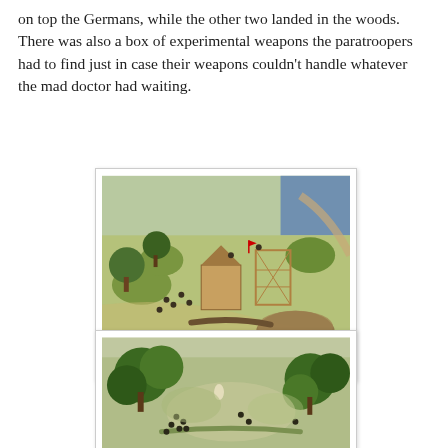on top the Germans, while the other two landed in the woods. There was also a box of experimental weapons the paratroopers had to find just in case their weapons couldn't handle whatever the mad doctor had waiting.
[Figure (photo): A wargaming tabletop scene showing miniature soldiers on a green terrain board with model buildings, trees, and fortifications. An overhead view of the battlefield diorama.]
[Figure (photo): A second wargaming tabletop scene showing miniature soldiers among model trees on a green terrain board, with figures positioned in wooded areas.]